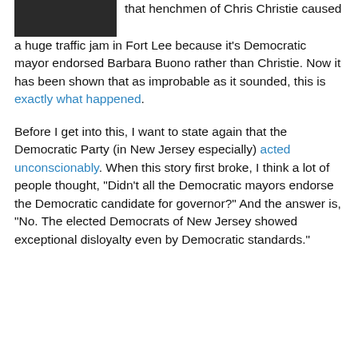[Figure (photo): Partial photo of a person in formal attire, cropped at top of page left side]
that henchmen of Chris Christie caused a huge traffic jam in Fort Lee because it's Democratic mayor endorsed Barbara Buono rather than Christie. Now it has been shown that as improbable as it sounded, this is exactly what happened. Before I get into this, I want to state again that the Democratic Party (in New Jersey especially) acted unconscionably. When this story first broke, I think a lot of people thought, “Didn’t all the Democratic mayors endorse the Democratic candidate for governor?” And the answer is, “No. The elected Democrats of New Jersey showed exceptional disloyalty even by Democratic standards.”